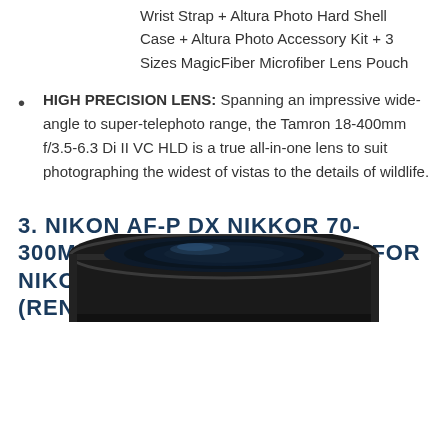Wrist Strap + Altura Photo Hard Shell Case + Altura Photo Accessory Kit + 3 Sizes MagicFiber Microfiber Lens Pouch
HIGH PRECISION LENS: Spanning an impressive wide-angle to super-telephoto range, the Tamron 18-400mm f/3.5-6.3 Di II VC HLD is a true all-in-one lens to suit photographing the widest of vistas to the details of wildlife.
3. NIKON AF-P DX NIKKOR 70-300MM F/4.5-6.3G ED VR LENS FOR NIKON DSLR CAMERAS (RENEWED)
[Figure (photo): Bottom portion of a camera lens (Nikon AF-P DX NIKKOR 70-300mm), black lens with reflective glass element visible at the base, cropped at bottom of page.]